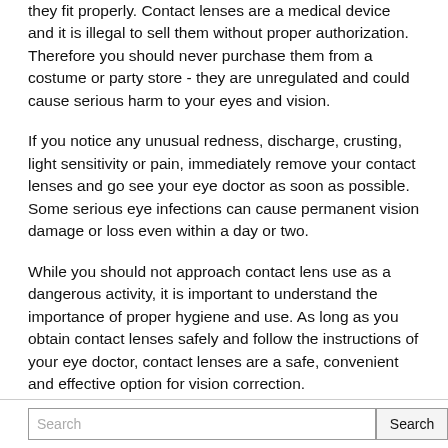they fit properly.  Contact lenses are a medical device and it is illegal to sell them without proper authorization. Therefore you should never purchase them from a costume or party store - they are unregulated and could cause serious harm to your eyes and vision.
If you notice any unusual redness, discharge, crusting, light sensitivity or pain, immediately remove your contact lenses and go see your eye doctor as soon as possible. Some serious eye infections can cause permanent vision damage or loss even within a day or two.
While you should not approach contact lens use as a dangerous activity, it is important to understand the importance of proper hygiene and use.  As long as you obtain contact lenses safely and follow the instructions of your eye doctor, contact lenses are a safe, convenient and effective option for vision correction.